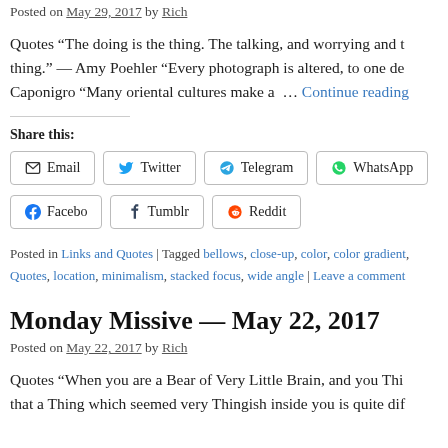Posted on May 29, 2017 by Rich
Quotes “The doing is the thing. The talking, and worrying and t… thing.” — Amy Poehler “Every photograph is altered, to one de… Caponigro “Many oriental cultures make a … Continue reading
Share this:
Email | Twitter | Telegram | WhatsApp | Facebook | Tumblr | Reddit
Posted in Links and Quotes | Tagged bellows, close-up, color, color gradient, Quotes, location, minimalism, stacked focus, wide angle | Leave a comment
Monday Missive — May 22, 2017
Posted on May 22, 2017 by Rich
Quotes “When you are a Bear of Very Little Brain, and you Thi… that a Thing which seemed very Thingish inside you is quite dif…